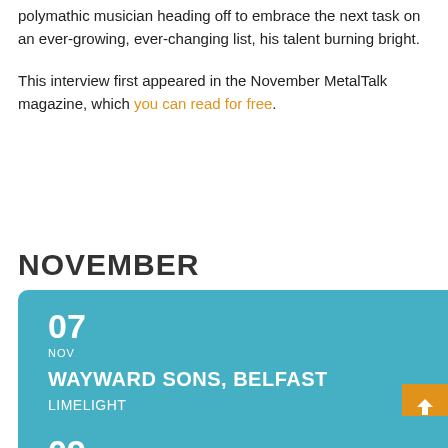That's certainly a challenge he's going to rise to, though, the polymathic musician heading off to embrace the next task on an ever-growing, ever-changing list, his talent burning bright.
This interview first appeared in the November MetalTalk magazine, which you can read for free.
NOVEMBER
07 NOV WAYWARD SONS, BELFAST LIMELIGHT
09